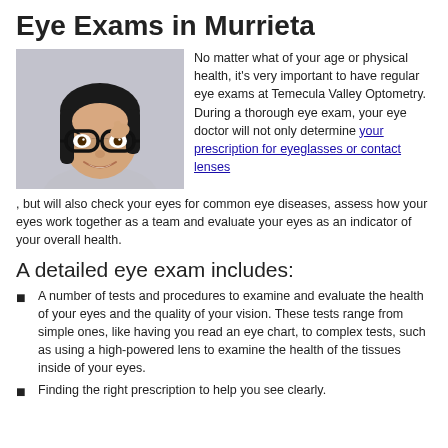Eye Exams in Murrieta
[Figure (photo): Young girl smiling and wearing large black-framed glasses, touching the frame with one hand]
No matter what of your age or physical health, it's very important to have regular eye exams at Temecula Valley Optometry. During a thorough eye exam, your eye doctor will not only determine your prescription for eyeglasses or contact lenses, but will also check your eyes for common eye diseases, assess how your eyes work together as a team and evaluate your eyes as an indicator of your overall health.
A detailed eye exam includes:
A number of tests and procedures to examine and evaluate the health of your eyes and the quality of your vision. These tests range from simple ones, like having you read an eye chart, to complex tests, such as using a high-powered lens to examine the health of the tissues inside of your eyes.
Finding the right prescription to help you see clearly.